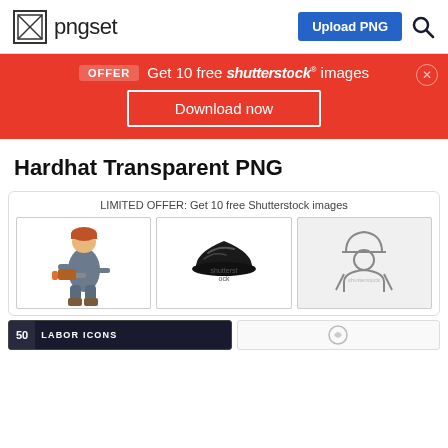pngset — Upload PNG
[Figure (infographic): Red promotional banner: OFFER Get 10 free shutterstock images, with Download now button]
Hardhat Transparent PNG
LIMITED OFFER: Get 10 free Shutterstock images
[Figure (illustration): Three thumbnail images: man with chainsaw and hardhat, black hardhat silhouette, line-art worker with hardhat]
[Figure (infographic): Bottom row: dark card labeled '50 LABOR ICONS' and a second thumbnail card]